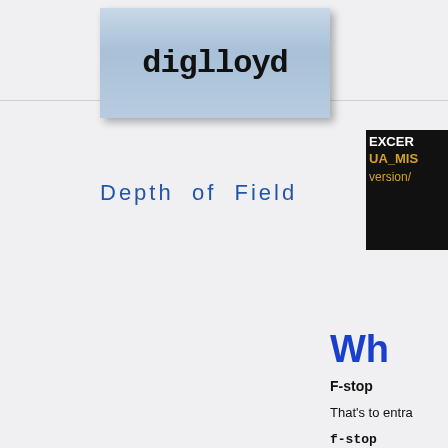[Figure (logo): diglloyd logo in blue gradient box with bold monospace text]
[Figure (screenshot): Excerpt box showing EXCERPT, UA_MIS, version/ text on black background with yellow/white text]
Depth of Field
Wh
F-stop
That's to entra
f-stop
The ne entranc